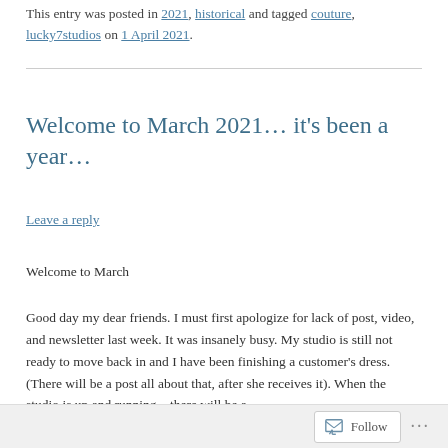This entry was posted in 2021, historical and tagged couture, lucky7studios on 1 April 2021.
Welcome to March 2021… it's been a year…
Leave a reply
Welcome to March
Good day my dear friends. I must first apologize for lack of post, video, and newsletter last week. It was insanely busy. My studio is still not ready to move back in and I have been finishing a customer's dress. (There will be a post all about that, after she receives it). When the studio is up and running – there will be a
Follow